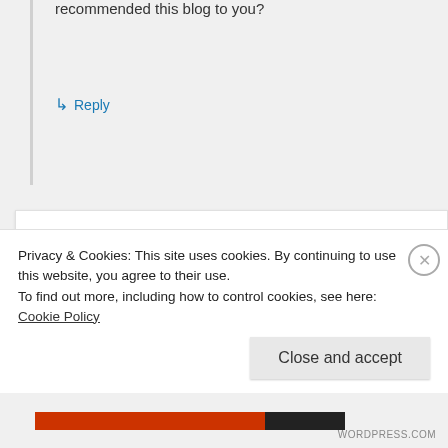recommended this blog to you?
↳ Reply
Mathematics Major
October 25, 2013 at 2:04 pm
Privacy & Cookies: This site uses cookies. By continuing to use this website, you agree to their use. To find out more, including how to control cookies, see here: Cookie Policy
Close and accept